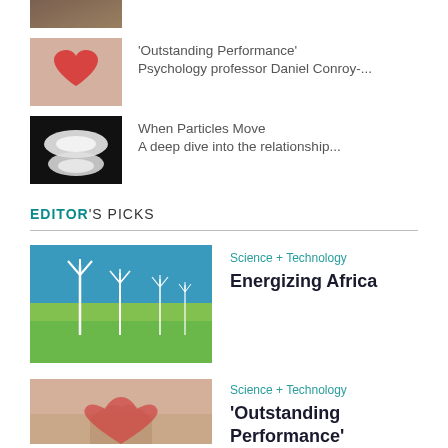[Figure (photo): Partial top thumbnail photo (cropped at top)]
[Figure (photo): Two hands holding a red heart]
'Outstanding Performance' Psychology professor Daniel Conroy-...
[Figure (photo): White particles/powder on black background]
When Particles Move A deep dive into the relationship...
EDITOR'S PICKS
[Figure (photo): Wind turbines in a green field under blue sky]
Science + Technology
Energizing Africa
[Figure (photo): Two people holding hands (partial, cropped)]
Science + Technology
'Outstanding Performance'